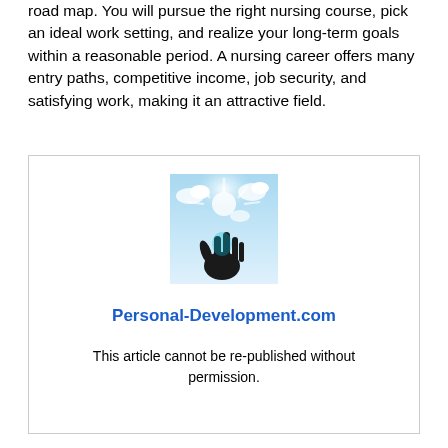road map. You will pursue the right nursing course, pick an ideal work setting, and realize your long-term goals within a reasonable period. A nursing career offers many entry paths, competitive income, job security, and satisfying work, making it an attractive field.
[Figure (photo): A hand reaching up toward a bright blue sky with clouds and sunlight]
Personal-Development.com
This article cannot be re-published without permission.